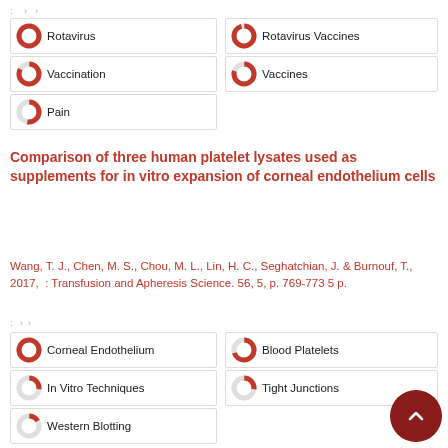: › ›
Rotavirus
Rotavirus Vaccines
Vaccination
Vaccines
Pain
Comparison of three human platelet lysates used as supplements for in vitro expansion of corneal endothelium cells
Wang, T. J., Chen, M. S., Chou, M. L., Lin, H. C., Seghatchian, J. & Burnouf, T., 2017,  : Transfusion and Apheresis Science. 56, 5, p. 769-773 5 p.
: › ›
Corneal Endothelium
Blood Platelets
In Vitro Techniques
Tight Junctions
Western Blotting